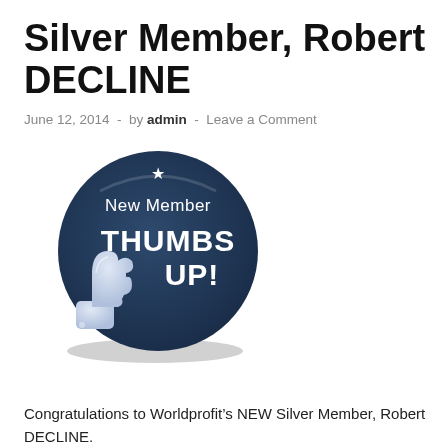Silver Member, Robert DECLINE
June 12, 2014  -  by admin  -  Leave a Comment
[Figure (illustration): A dark navy circular badge with a white star at the top, text 'New Member' and 'THUMBS UP!' in white, with a large white thumbs-up icon at the bottom left extending slightly outside the circle.]
Congratulations to Worldprofit’s NEW Silver Member, Robert DECLINE.
Robert welcome to our home business training program